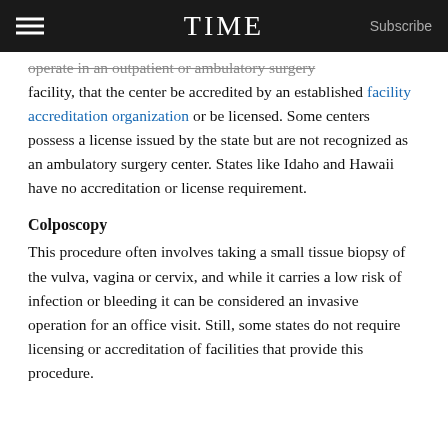TIME  Subscribe
operate in an outpatient or ambulatory surgery facility, that the center be accredited by an established facility accreditation organization or be licensed. Some centers possess a license issued by the state but are not recognized as an ambulatory surgery center. States like Idaho and Hawaii have no accreditation or license requirement.
Colposcopy
This procedure often involves taking a small tissue biopsy of the vulva, vagina or cervix, and while it carries a low risk of infection or bleeding it can be considered an invasive operation for an office visit. Still, some states do not require licensing or accreditation of facilities that provide this procedure.